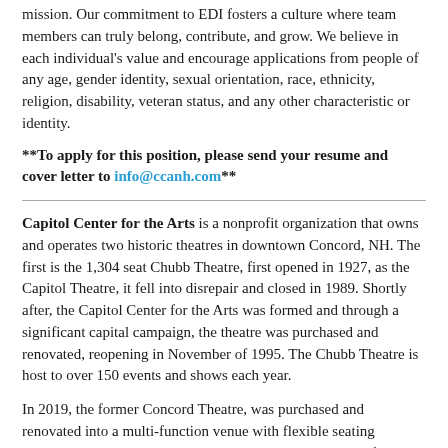mission. Our commitment to EDI fosters a culture where team members can truly belong, contribute, and grow. We believe in each individual's value and encourage applications from people of any age, gender identity, sexual orientation, race, ethnicity, religion, disability, veteran status, and any other characteristic or identity.
**To apply for this position, please send your resume and cover letter to info@ccanh.com**
Capitol Center for the Arts is a nonprofit organization that owns and operates two historic theatres in downtown Concord, NH. The first is the 1,304 seat Chubb Theatre, first opened in 1927, as the Capitol Theatre, it fell into disrepair and closed in 1989. Shortly after, the Capitol Center for the Arts was formed and through a significant capital campaign, the theatre was purchased and renovated, reopening in November of 1995. The Chubb Theatre is host to over 150 events and shows each year.
In 2019, the former Concord Theatre, was purchased and renovated into a multi-function venue with flexible seating accommodating up to 424 people. Renamed as the Bank of New Hampshire Stage, this unique, second venue quickly became part of the music scene in Concord and hosted over 120 shows in the 8 months it was open prior to the pandemic. Our 2021-2022 season is now on sale and we anticipate being back at full capacity at the beginning of August.
We offer a great opportunity to work at beautiful facilities with top-notch entertainment, with competitive pay and comprehensive